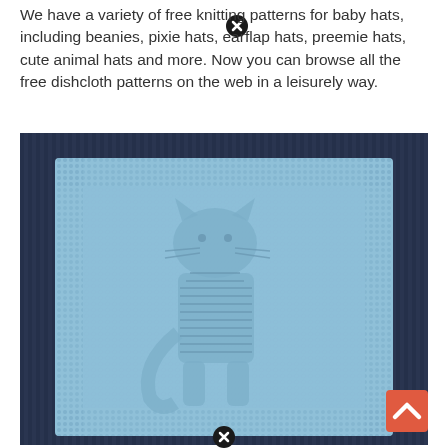We have a variety of free knitting patterns for baby hats, including beanies, pixie hats, earflap hats, preemie hats, cute animal hats and more. Now you can browse all the free dishcloth patterns on the web in a leisurely way.
[Figure (photo): A light blue knitted dishcloth with a textured pattern (appears to show a cat or animal figure) laid on a dark navy blue ribbed knitted background.]